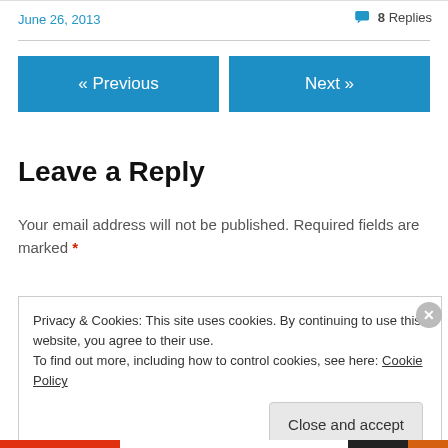June 26, 2013
8 Replies
« Previous
Next »
Leave a Reply
Your email address will not be published. Required fields are marked *
Privacy & Cookies: This site uses cookies. By continuing to use this website, you agree to their use.
To find out more, including how to control cookies, see here: Cookie Policy
Close and accept